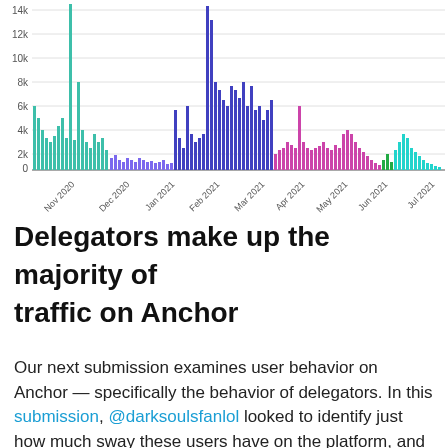[Figure (bar-chart): Bar chart showing website traffic on Anchor from Nov 2020 to Jul 2021 with bars colored in teal, purple, magenta, green, and cyan sections indicating different time periods or user types.]
Delegators make up the majority of traffic on Anchor
Our next submission examines user behavior on Anchor — specifically the behavior of delegators. In this submission, @darksoulsfanlol looked to identify just how much sway these users have on the platform, and whether they